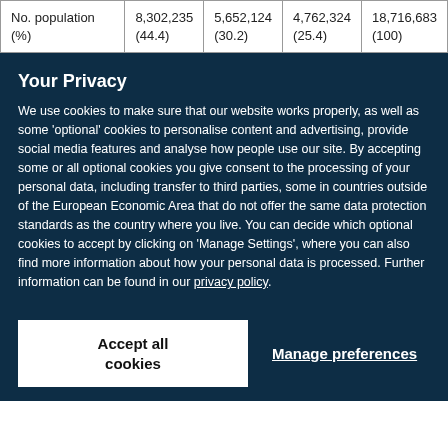| No. population (%) | 8,302,235 (44.4) | 5,652,124 (30.2) | 4,762,324 (25.4) | 18,716,683 (100) |
Your Privacy
We use cookies to make sure that our website works properly, as well as some 'optional' cookies to personalise content and advertising, provide social media features and analyse how people use our site. By accepting some or all optional cookies you give consent to the processing of your personal data, including transfer to third parties, some in countries outside of the European Economic Area that do not offer the same data protection standards as the country where you live. You can decide which optional cookies to accept by clicking on 'Manage Settings', where you can also find more information about how your personal data is processed. Further information can be found in our privacy policy.
Accept all cookies
Manage preferences